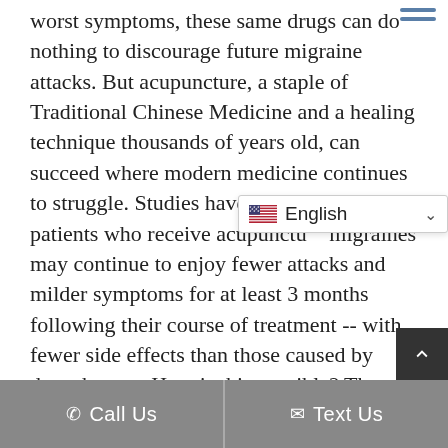worst symptoms, these same drugs can do nothing to discourage future migraine attacks. But acupuncture, a staple of Traditional Chinese Medicine and a healing technique thousands of years old, can succeed where modern medicine continues to struggle. Studies have shown that patients who receive acupunctu[re for] migraines may continue to enjoy fewer attacks and milder symptoms for at least 3 months following their course of treatment -- with fewer side effects than those caused by drug therapy. How is this possible? The Eastern explanation is that the needles redirect the flow of life energy, or chi, to restore more normal function. Western research indicates that the needles regulate pain signalin[g
[Figure (other): Language selector dropdown showing US flag and 'English' text with chevron]
Call Us   Text Us